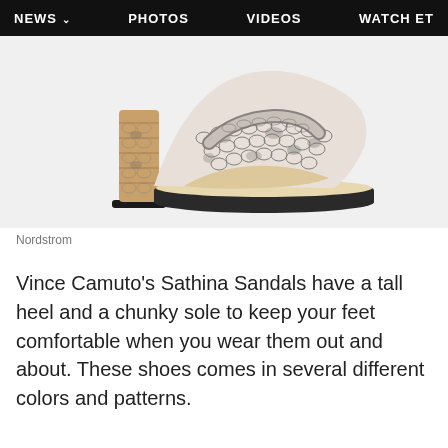NEWS  PHOTOS  VIDEOS  WATCH ET
[Figure (photo): Vince Camuto Sathina platform sandal with snakeskin pattern, chunky heel, and open toe, shown on white background]
Nordstrom
Vince Camuto's Sathina Sandals have a tall heel and a chunky sole to keep your feet comfortable when you wear them out and about. These shoes comes in several different colors and patterns.